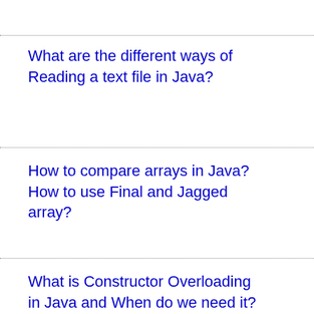What are the different ways of Reading a text file in Java?
How to compare arrays in Java? How to use Final and Jagged array?
What is Constructor Overloading in Java and When do we need it?